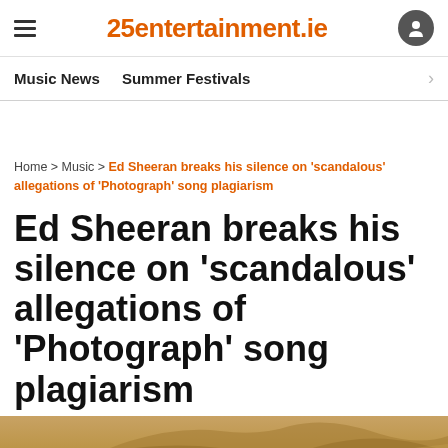25entertainment.ie
Music News   Summer Festivals
Home > Music > Ed Sheeran breaks his silence on 'scandalous' allegations of 'Photograph' song plagiarism
Ed Sheeran breaks his silence on 'scandalous' allegations of 'Photograph' song plagiarism
[Figure (photo): Partial photo of Ed Sheeran from above, showing top of head with reddish-brown hair against sandy/warm background]